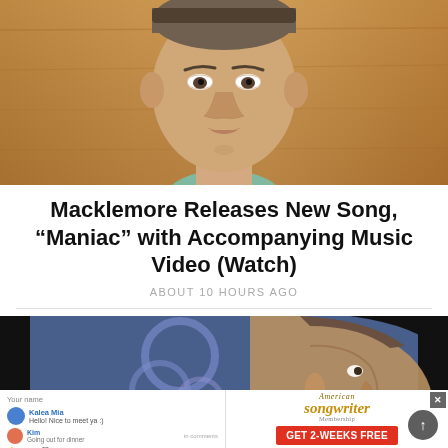[Figure (photo): Close-up portrait photo of Macklemore against a wooden background, looking directly at camera]
Macklemore Releases New Song, “Maniac” with Accompanying Music Video (Watch)
ABOUT 10 HOURS AGO
[Figure (screenshot): Video player screenshot showing a man in profile against a blue stained-glass background, with an American Songwriter advertisement overlay offering GET 2-WEEKS FREE membership]